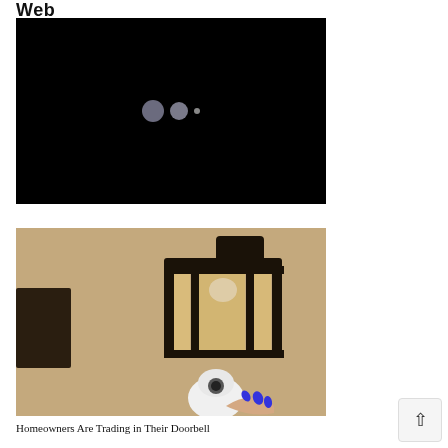Web
[Figure (screenshot): Black rectangle with three loading dots (two gray circles and one small dot) centered, resembling a video loading placeholder.]
[Figure (photo): Outdoor lantern light fixture mounted on a stucco wall, with a white security camera below it and a hand with blue nail polish holding the camera.]
Homeowners Are Trading in Their Doorbell